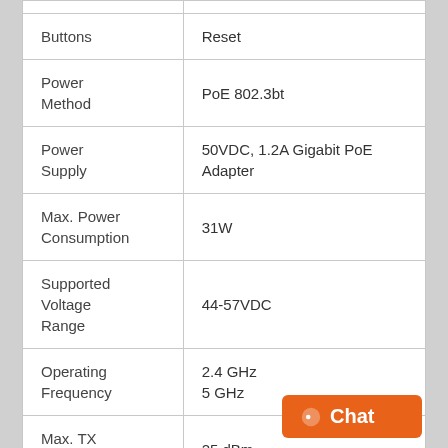| Property | Value |
| --- | --- |
| Buttons | Reset |
| Power Method | PoE 802.3bt |
| Power Supply | 50VDC, 1.2A Gigabit PoE Adapter |
| Max. Power Consumption | 31W |
| Supported Voltage Range | 44-57VDC |
| Operating Frequency | 2.4 GHz
5 GHz |
| Max. TX Power | 25 dBm |